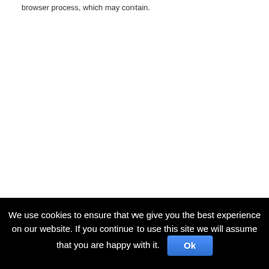browser process, which may contain.
We use cookies to ensure that we give you the best experience on our website. If you continue to use this site we will assume that you are happy with it.  Ok